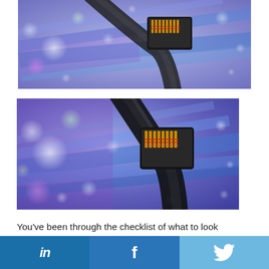[Figure (photo): Close-up photo of an Ethernet/RJ45 network cable connector against a blurred background of colorful fiber optic lights in purple, blue, pink and white bokeh]
[Figure (photo): Second close-up photo of an Ethernet/RJ45 network cable connector against a blurred background of colorful fiber optic lights in purple, blue, pink and white bokeh - larger version]
You've been through the checklist of what to look
in | f | Twitter bird icon — social sharing bar